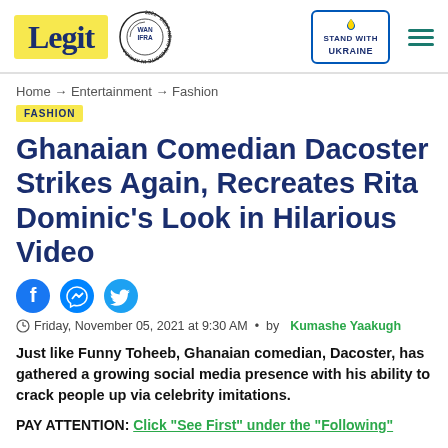Legit | WAN IFRA Best News Website in Africa 2021 | Stand with Ukraine
Home → Entertainment → Fashion
FASHION
Ghanaian Comedian Dacoster Strikes Again, Recreates Rita Dominic's Look in Hilarious Video
[Figure (logo): Social sharing icons: Facebook, Messenger, Twitter]
Friday, November 05, 2021 at 9:30 AM • by Kumashe Yaakugh
Just like Funny Toheeb, Ghanaian comedian, Dacoster, has gathered a growing social media presence with his ability to crack people up via celebrity imitations.
PAY ATTENTION: Click "See First" under the "Following"